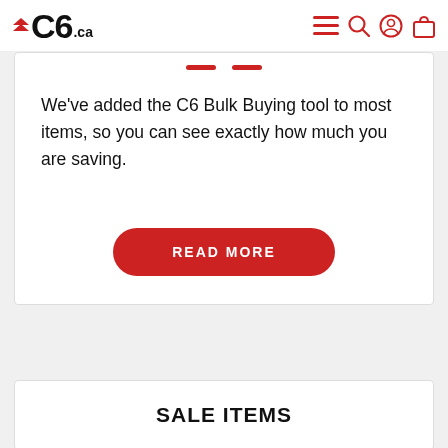C6.ca navigation bar with logo and icons
We've added the C6 Bulk Buying tool to most items, so you can see exactly how much you are saving.
READ MORE
SALE ITEMS